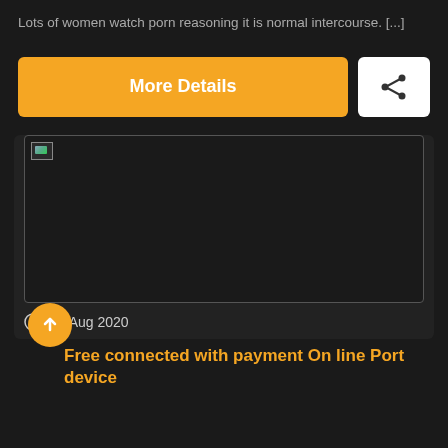Lots of women watch porn reasoning it is normal intercourse. [...]
More Details
[Figure (screenshot): Broken image placeholder inside a dark card]
29 Aug 2020
Free connected with payment On line Port device